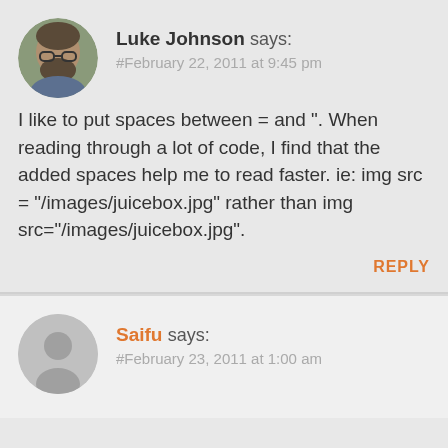Luke Johnson says:
#February 22, 2011 at 9:45 pm
I like to put spaces between = and ". When reading through a lot of code, I find that the added spaces help me to read faster. ie: img src = "/images/juicebox.jpg" rather than img src="/images/juicebox.jpg".
REPLY
Saifu says:
#February 23, 2011 at 1:00 am